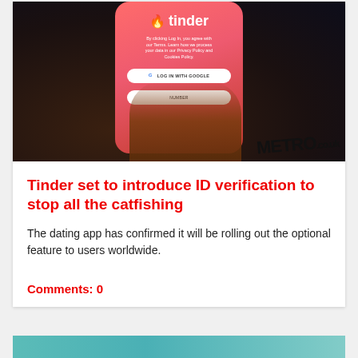[Figure (photo): A hand holding a smartphone displaying the Tinder app login screen with 'LOG IN WITH GOOGLE' button. METRO.co.uk watermark visible in the bottom right corner of the photo.]
Tinder set to introduce ID verification to stop all the catfishing
The dating app has confirmed it will be rolling out the optional feature to users worldwide.
Comments: 0